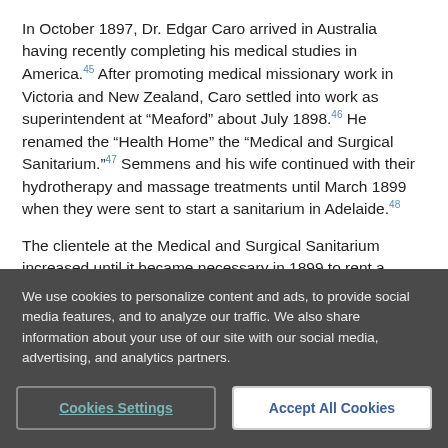In October 1897, Dr. Edgar Caro arrived in Australia having recently completing his medical studies in America.45 After promoting medical missionary work in Victoria and New Zealand, Caro settled into work as superintendent at “Meaford” about July 1898.46 He renamed the “Health Home” the “Medical and Surgical Sanitarium.”47 Semmens and his wife continued with their hydrotherapy and massage treatments until March 1899 when they were sent to start a sanitarium in Adelaide.48
The clientele at the Medical and Surgical Sanitarium increased until it became necessary in 1899 to rent a
We use cookies to personalize content and ads, to provide social media features, and to analyze our traffic. We also share information about your use of our site with our social media, advertising, and analytics partners.